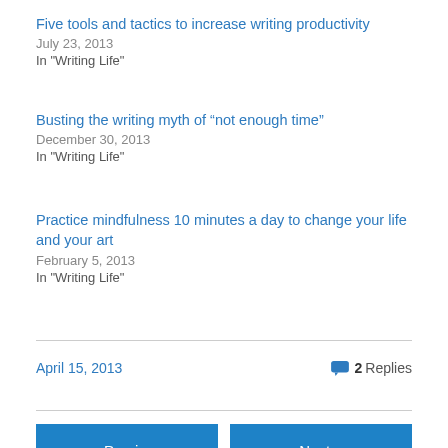Five tools and tactics to increase writing productivity
July 23, 2013
In "Writing Life"
Busting the writing myth of “not enough time”
December 30, 2013
In "Writing Life"
Practice mindfulness 10 minutes a day to change your life and your art
February 5, 2013
In "Writing Life"
April 15, 2013 2 Replies
« Previous
Next »